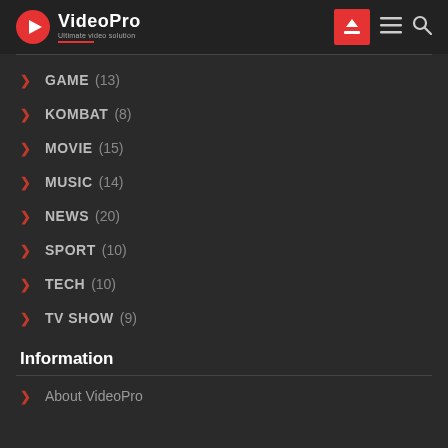VideoPro - Ultimate video solution
GAME (13)
KOMBAT (8)
MOVIE (15)
MUSIC (14)
NEWS (20)
SPORT (10)
TECH (10)
TV SHOW (9)
Information
About VideoPro